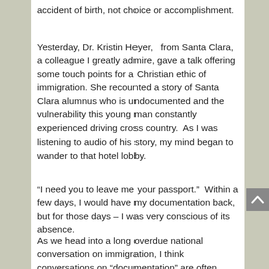accident of birth, not choice or accomplishment.
Yesterday, Dr. Kristin Heyer,   from Santa Clara, a colleague I greatly admire, gave a talk offering some touch points for a Christian ethic of immigration. She recounted a story of Santa Clara alumnus who is undocumented and the vulnerability this young man constantly experienced driving cross country.  As I was listening to audio of his story, my mind began to wander to that hotel lobby.
“I need you to leave me your passport.”  Within a few days, I would have my documentation back, but for those days – I was very conscious of its absence.
As we head into a long overdue national conversation on immigration, I think conversations on “documentation” are often obscured because the vulnerability of the undocumented population is so alien